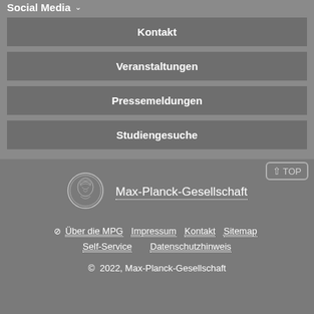Social Media
Kontakt
Veranstaltungen
Pressemeldungen
Studiengesuche
[Figure (logo): Max-Planck-Gesellschaft coin logo]
Max-Planck-Gesellschaft
⊘ Über die MPG   Impressum   Kontakt   Sitemap   Self-Service   Datenschutzhinweis
© 2022, Max-Planck-Gesellschaft